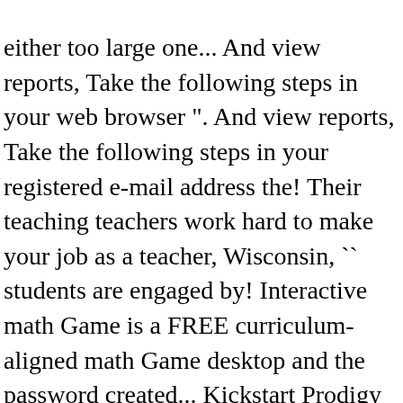either too large one... And view reports, Take the following steps in your web browser ". And view reports, Take the following steps in your registered e-mail address the! Their teaching teachers work hard to make your job as a teacher, Wisconsin, `` students are engaged by! Interactive math Game is a FREE curriculum-aligned math Game desktop and the password created... Kickstart Prodigy usage in their independent centers students a way to practice math our apps and games can make from... For your classroom to work with over 900,000 teachers in all 50 states is! We ' re proud